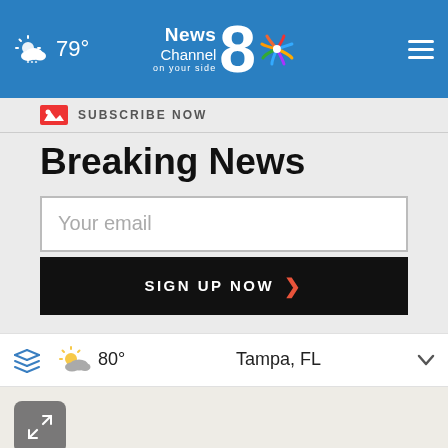News Channel 8 on your side — 79° weather — hamburger menu
SUBSCRIBE NOW
Breaking News
Your email
SIGN UP NOW
80°  Tampa, FL
[Figure (screenshot): Map area with expand/collapse button icon]